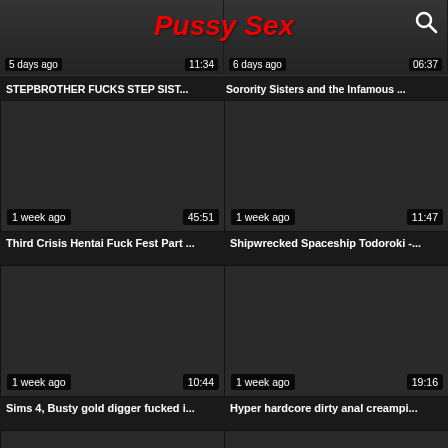Pussy Sex
STEPBROTHER FUCKS STEP SIST...
Sorority Sisters and the Infamous ...
[Figure (screenshot): Video thumbnail - dark, 1 week ago, 45:51]
Third Crisis Hentai Fuck Fest Part ...
[Figure (screenshot): Video thumbnail - dark, 1 week ago, 11:47]
Shipwrecked Spaceship Todoroki -...
[Figure (screenshot): Video thumbnail - dark, 1 week ago, 10:44]
Sims 4, Busty gold digger fucked i...
[Figure (screenshot): Video thumbnail - dark, 1 week ago, 19:16]
Hyper hardcore dirty anal creampi...
[Figure (screenshot): Video thumbnail bottom-left - dark, partial]
[Figure (screenshot): Video thumbnail bottom-right - dark, partial]